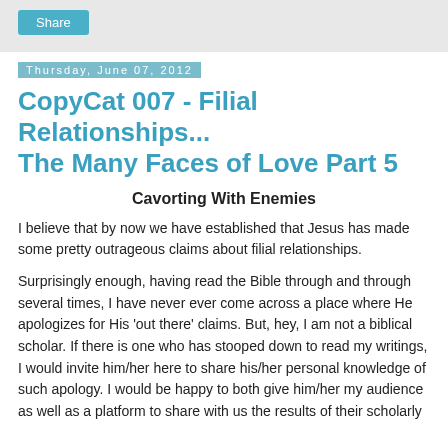Share
Thursday, June 07, 2012
CopyCat 007 - Filial Relationships... The Many Faces of Love Part 5
Cavorting With Enemies
I believe that by now we have established that Jesus has made some pretty outrageous claims about filial relationships.
Surprisingly enough, having read the Bible through and through several times, I have never ever come across a place where He apologizes for His 'out there' claims. But, hey, I am not a biblical scholar. If there is one who has stooped down to read my writings, I would invite him/her here to share his/her personal knowledge of such apology. I would be happy to both give him/her my audience as well as a platform to share with us the results of their scholarly